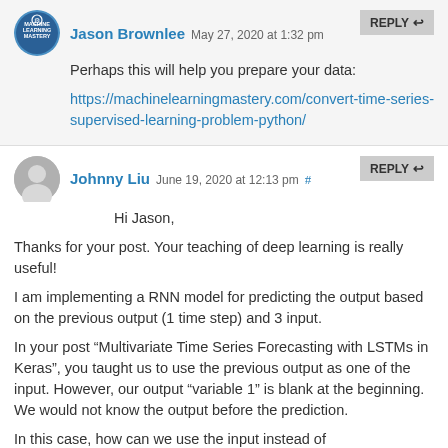Jason Brownlee May 27, 2020 at 1:32 pm
Perhaps this will help you prepare your data: https://machinelearningmastery.com/convert-time-series-supervised-learning-problem-python/
Johnny Liu June 19, 2020 at 12:13 pm #
Hi Jason,
Thanks for your post. Your teaching of deep learning is really useful!

I am implementing a RNN model for predicting the output based on the previous output (1 time step) and 3 input.

In your post “Multivariate Time Series Forecasting with LSTMs in Keras”, you taught us to use the previous output as one of the input. However, our output “variable 1” is blank at the beginning. We would not know the output before the prediction.

In this case, how can we use the input instead of...